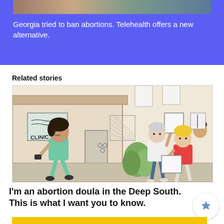[Figure (illustration): Blue banner with partial image strip at top and white text about Georgia abortion and telehealth]
Georgia tried to ban abortions. Telehealth offers a new alternative.
Related stories
[Figure (illustration): Hand-drawn color illustration showing a person in teal/green scrubs walking toward a building labeled CLINIC, and protestors holding signs in the background]
I'm an abortion doula in the Deep South. This is what I want you to know.